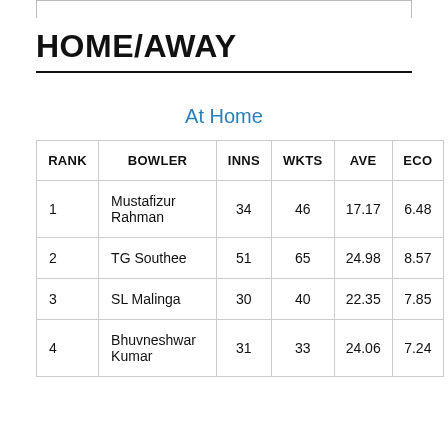HOME/AWAY
At Home
| RANK | BOWLER | INNS | WKTS | AVE | ECO |
| --- | --- | --- | --- | --- | --- |
| 1 | Mustafizur Rahman | 34 | 46 | 17.17 | 6.48 |
| 2 | TG Southee | 51 | 65 | 24.98 | 8.57 |
| 3 | SL Malinga | 30 | 40 | 22.35 | 7.85 |
| 4 | Bhuvneshwar Kumar | 31 | 33 | 24.06 | 7.24 |